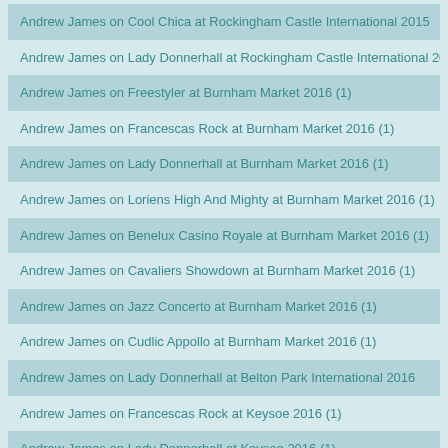Andrew James on Cool Chica at Rockingham Castle International 2015
Andrew James on Lady Donnerhall at Rockingham Castle International 2015
Andrew James on Freestyler at Burnham Market 2016 (1)
Andrew James on Francescas Rock at Burnham Market 2016 (1)
Andrew James on Lady Donnerhall at Burnham Market 2016 (1)
Andrew James on Loriens High And Mighty at Burnham Market 2016 (1)
Andrew James on Benelux Casino Royale at Burnham Market 2016 (1)
Andrew James on Cavaliers Showdown at Burnham Market 2016 (1)
Andrew James on Jazz Concerto at Burnham Market 2016 (1)
Andrew James on Cudlic Appollo at Burnham Market 2016 (1)
Andrew James on Lady Donnerhall at Belton Park International 2016
Andrew James on Francescas Rock at Keysoe 2016 (1)
Andrew James on Lady Donnerhall at Keysoe 2016 (1)
Andrew James on Freestyler at Keysoe 2016 (1)
Andrew James on Lapdancer at Keysoe 2016 (1)
Andrew James on Celtic Morning Star at Keysoe 2016 (1)
Andrew James on Gambler Iv at Keysoe 2016 (1)